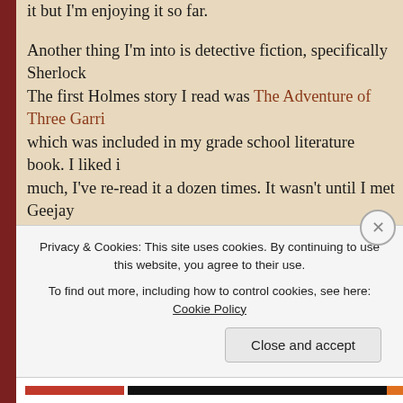it but I'm enjoying it so far. Another thing I'm into is detective fiction, specifically Sherlock. The first Holmes story I read was The Adventure of Three Garri which was included in my grade school literature book. I liked it much, I've re-read it a dozen times. It wasn't until I met Geejay found out there are more stories about Holmes out there. I saw h his nose buried into a thick paperback, Sherlock Holmes: The C Novels and Stories. When I saw the cover of the book, I nearly s the book from him. I didn't of course, as I didn't know him well But you can bet that I hurried to a local bookstore to find the sa Imagine my delight when I saw that there were 2 volumes of the Needless to say, I bought both books and had a terrific time read about my favourite detective.
Privacy & Cookies: This site uses cookies. By continuing to use this website, you agree to their use.
To find out more, including how to control cookies, see here: Cookie Policy